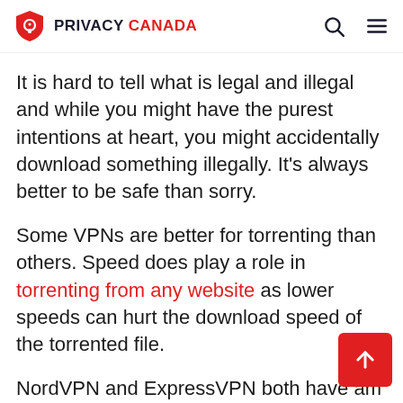PRIVACY CANADA
It is hard to tell what is legal and illegal and while you might have the purest intentions at heart, you might accidentally download something illegally. It’s always better to be safe than sorry.
Some VPNs are better for torrenting than others. Speed does play a role in torrenting from any website as lower speeds can hurt the download speed of the torrented file.
NordVPN and ExpressVPN both have am reputations for being torrent friendly. Both